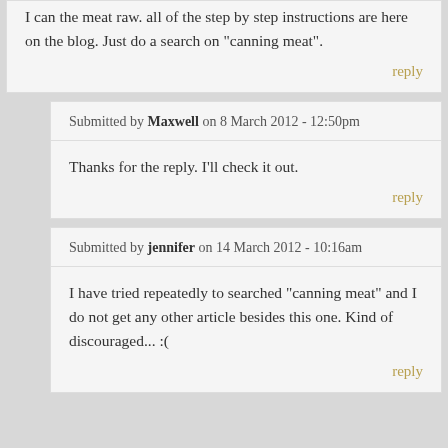I can the meat raw. all of the step by step instructions are here on the blog. Just do a search on "canning meat".
reply
Submitted by Maxwell on 8 March 2012 - 12:50pm
Thanks for the reply. I'll check it out.
reply
Submitted by jennifer on 14 March 2012 - 10:16am
I have tried repeatedly to searched "canning meat" and I do not get any other article besides this one. Kind of discouraged... :(
reply